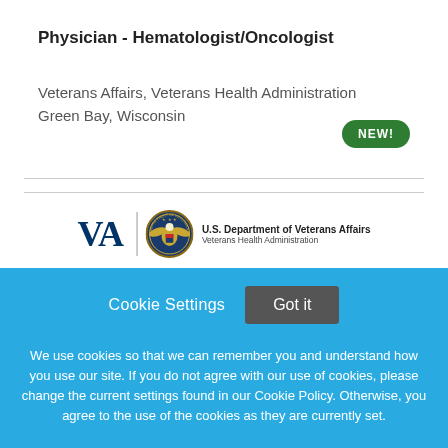Physician - Hematologist/Oncologist
Veterans Affairs, Veterans Health Administration
Green Bay, Wisconsin
[Figure (logo): VA U.S. Department of Veterans Affairs, Veterans Health Administration logo with eagle seal]
Cookie Settings  Got it
We use cookies so that we can remember you and understand how you use our site. If you do not agree with our use of cookies, please change the current settings found in our Cookie Policy. Otherwise, you agree to the use of the cookies as they are currently set.